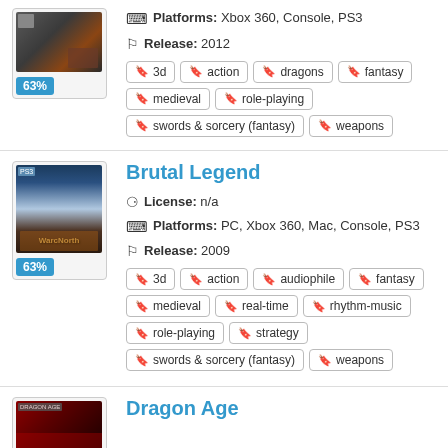Platforms: Xbox 360, Console, PS3
Release: 2012
3d, action, dragons, fantasy, medieval, role-playing, swords & sorcery (fantasy), weapons
Brutal Legend
License: n/a
Platforms: PC, Xbox 360, Mac, Console, PS3
Release: 2009
3d, action, audiophile, fantasy, medieval, real-time, rhythm-music, role-playing, strategy, swords & sorcery (fantasy), weapons
Dragon Age